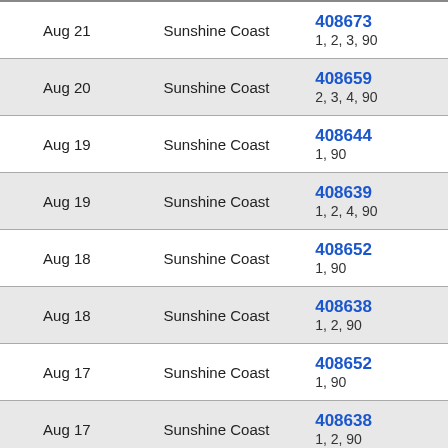| Date | Region | ID / Routes |
| --- | --- | --- |
| Aug 21 | Sunshine Coast | 408673
1, 2, 3, 90 |
| Aug 20 | Sunshine Coast | 408659
2, 3, 4, 90 |
| Aug 19 | Sunshine Coast | 408644
1, 90 |
| Aug 19 | Sunshine Coast | 408639
1, 2, 4, 90 |
| Aug 18 | Sunshine Coast | 408652
1, 90 |
| Aug 18 | Sunshine Coast | 408638
1, 2, 90 |
| Aug 17 | Sunshine Coast | 408652
1, 90 |
| Aug 17 | Sunshine Coast | 408638
1, 2, 90 |